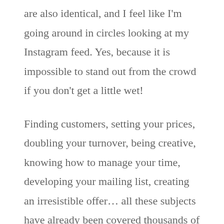are also identical, and I feel like I'm going around in circles looking at my Instagram feed. Yes, because it is impossible to stand out from the crowd if you don't get a little wet!
Finding customers, setting your prices, doubling your turnover, being creative, knowing how to manage your time, developing your mailing list, creating an irresistible offer... all these subjects have already been covered thousands of times.